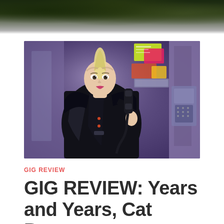[Figure (photo): Top strip photo of trees/foliage with dark green leaves against sky, partially cut off at top of page]
[Figure (photo): Person in a shiny black patent leather jacket with bleached/blonde mohawk-style hair, holding a telephone receiver to their ear, standing in what appears to be a phone booth with colorful neon flyers in the background, purple-tinted lighting]
GIG REVIEW
GIG REVIEW: Years and Years, Cat Burns